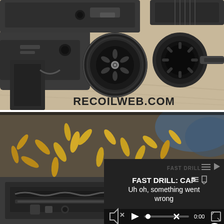[Figure (photo): Close-up photo of disassembled firearm parts (pistol/gun components) on a wooden surface, showing barrel and internal mechanisms. Watermark 'RECOILWEB.COM' in bottom right corner.]
[Figure (photo): Close-up photo of spent brass bullet casings scattered on a surface with firearm components visible. Overlaid with a video player error message reading 'FAST DRILL: CAP... Uh oh, something went wrong' with playback controls showing 0:00 timestamp. A close (X) button appears in the top-right corner of the video overlay.]